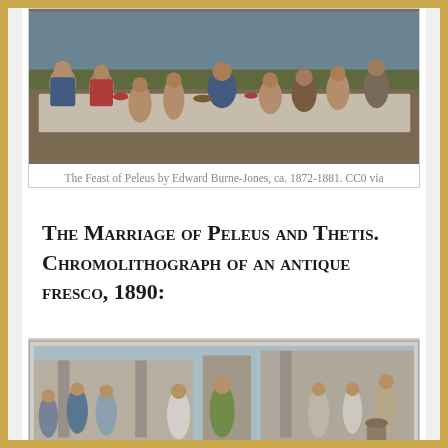[Figure (illustration): The Feast of Peleus by Edward Burne-Jones, ca. 1872-1881. A wide horizontal painting showing a banquet scene with many figures in classical dress around a long table.]
The Feast of Peleus by Edward Burne-Jones, ca. 1872-1881. CC0 via Wikimedia Commons
The Marriage of Peleus and Thetis. Chromolithograph of an antique fresco, 1890:
[Figure (illustration): The Marriage of Peleus and Thetis. Chromolithograph of an antique fresco, 1890. Shows classical figures including women in robes and men in various poses against an architectural background with columns.]